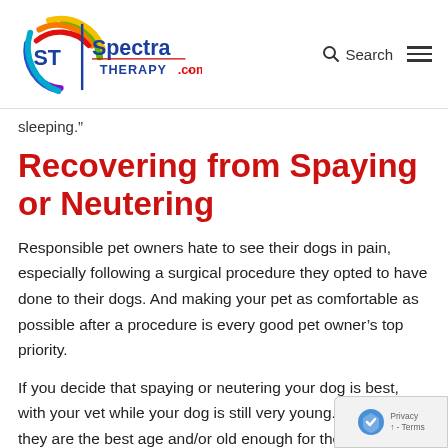[Figure (logo): Spectra Therapy logo with colorful swirl and ST letters, text reads 'ST Spectra THERAPY.com']
Search  ☰
sleeping.”
Recovering from Spaying or Neutering
Responsible pet owners hate to see their dogs in pain, especially following a surgical procedure they opted to have done to their dogs. And making your pet as comfortable as possible after a procedure is every good pet owner’s top priority.
If you decide that spaying or neutering your dog is best, with your vet while your dog is still very young. Make sure they are the best age and/or old enough for the procedure.